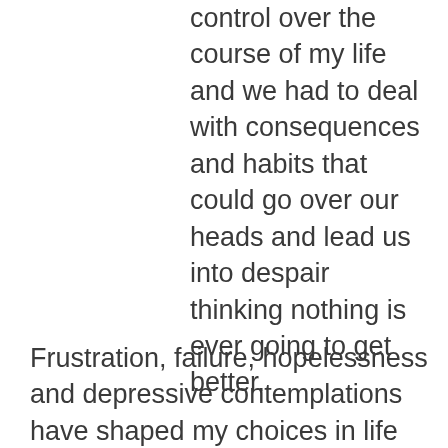control over the course of my life and we had to deal with consequences and habits that could go over our heads and lead us into despair thinking nothing is ever going to get better.
Frustration, failure, hopelessness and depressive contemplations have shaped my choices in life and developed unhealthy behaviors in order to cope